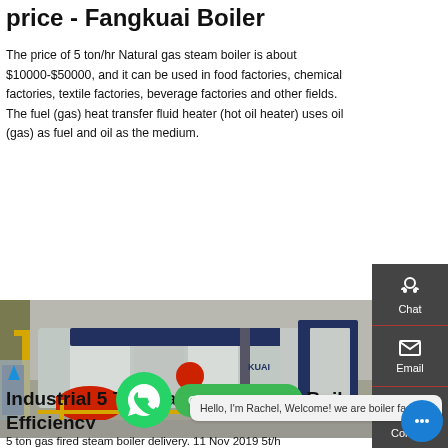price - Fangkuai Boiler
The price of 5 ton/hr Natural gas steam boiler is about $10000-$50000, and it can be used in food factories, chemical factories, textile factories, beverage factories and other fields. The fuel (gas) heat transfer fluid heater (hot oil heater) uses oil (gas) as fuel and oil as the medium.
[Figure (photo): Industrial natural gas steam boiler (Fangkuai brand) in a factory setting, showing a large blue and silver horizontal boiler unit with red burner component and yellow safety railings]
Industrial 5 Ton Gas Fired Steam Boiler Efficiency
5 ton gas fired steam boiler delivery. 11 Nov 2019 5t/h